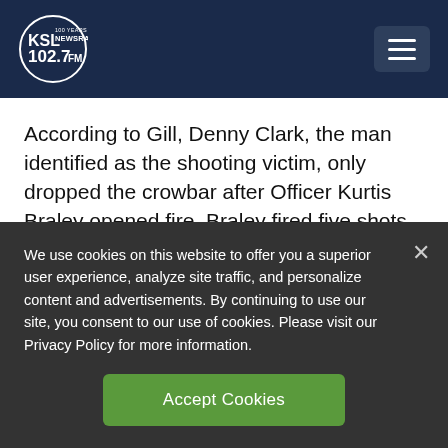KSL NewsRadio 102.7 FM — 100 Years of Trust
According to Gill, Denny Clark, the man identified as the shooting victim, only dropped the crowbar after Officer Kurtis Braley opened fire. Braley fired five shots.
Shooting ruled justified
We use cookies on this website to offer you a superior user experience, analyze site traffic, and personalize content and advertisements. By continuing to use our site, you consent to our use of cookies. Please visit our Privacy Policy for more information.
Accept Cookies